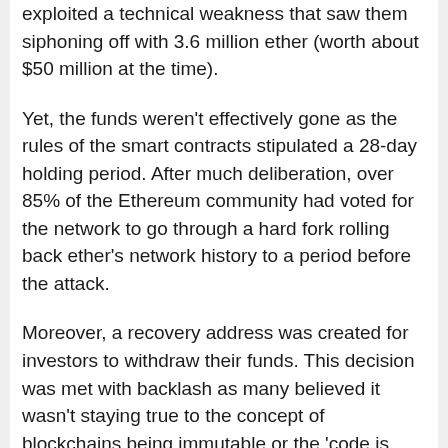exploited a technical weakness that saw them siphoning off with 3.6 million ether (worth about $50 million at the time).
Yet, the funds weren't effectively gone as the rules of the smart contracts stipulated a 28-day holding period. After much deliberation, over 85% of the Ethereum community had voted for the network to go through a hard fork rolling back ether's network history to a period before the attack.
Moreover, a recovery address was created for investors to withdraw their funds. This decision was met with backlash as many believed it wasn't staying true to the concept of blockchains being immutable or the 'code is law' principle.
Hence, those who didn't agree to this resolution remained with the unchanged Ethereum, which was named Ethereum Classic.